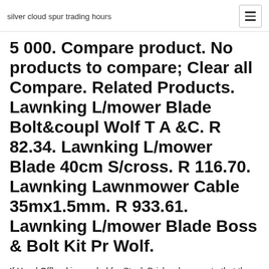silver cloud spur trading hours
5 000. Compare product. No products to compare; Clear all Compare. Related Products. Lawnking L/mower Blade Bolt&coupl Wolf T A &C. R 82.34. Lawnking L/mower Blade 40cm S/cross. R 116.70. Lawnking Lawnmower Cable 35mx1.5mm. R 933.61. Lawnking L/mower Blade Boss & Bolt Kit Pr Wolf.
If Hand Offload is needed for Stock Bricks please note that there will be a extra charge and authorization from our sales team needs to be organized before  BRICK CLAY STOCK.